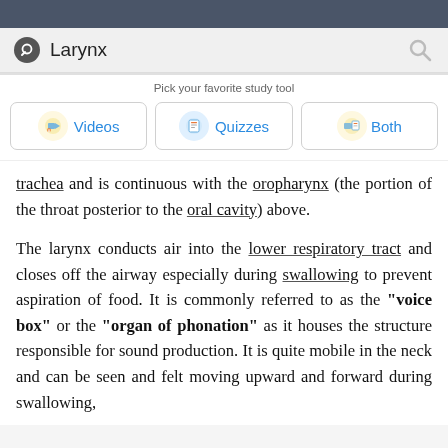Larynx
Pick your favorite study tool
Videos  Quizzes  Both
trachea and is continuous with the oropharynx (the portion of the throat posterior to the oral cavity) above.
The larynx conducts air into the lower respiratory tract and closes off the airway especially during swallowing to prevent aspiration of food. It is commonly referred to as the "voice box" or the "organ of phonation" as it houses the structure responsible for sound production. It is quite mobile in the neck and can be seen and felt moving upward and forward during swallowing,